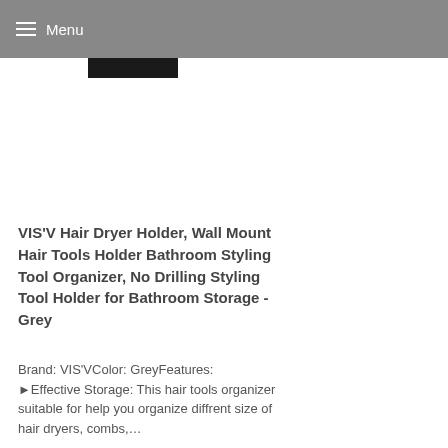Menu
[Figure (other): Black rectangular bar element below navigation]
VIS'V Hair Dryer Holder, Wall Mount Hair Tools Holder Bathroom Styling Tool Organizer, No Drilling Styling Tool Holder for Bathroom Storage - Grey
Brand: VIS'VColor: GreyFeatures: ►Effective Storage: This hair tools organizer suitable for help you organize diffrent size of hair dryers, combs,…